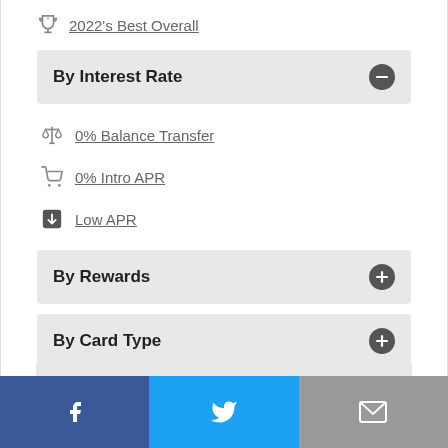2022's Best Overall
By Interest Rate
0% Balance Transfer
0% Intro APR
Low APR
By Rewards
By Card Type
By Credit Needed